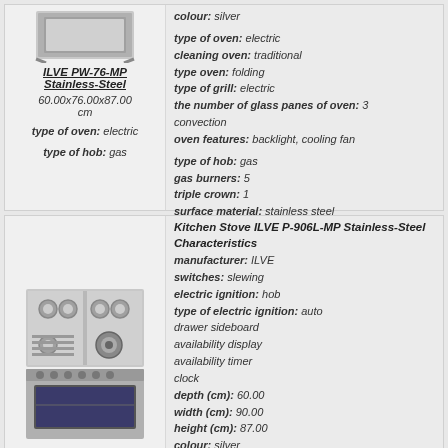[Figure (photo): ILVE PW-76-MP Stainless-Steel oven product image (top portion visible)]
ILVE PW-76-MP Stainless-Steel
60.00x76.00x87.00 cm
type of oven: electric
type of hob: gas
colour: silver
type of oven: electric
cleaning oven: traditional
type oven: folding
type of grill: electric
the number of glass panes of oven: 3
convection
oven features: backlight, cooling fan
type of hob: gas
gas burners: 5
triple crown: 1
surface material: stainless steel
gas hob control
more information
[Figure (photo): Kitchen stove ILVE P-906L-MP Stainless-Steel product image showing gas hob with 5 burners and oven below]
Kitchen Stove ILVE P-906L-MP Stainless-Steel Characteristics
manufacturer: ILVE
switches: slewing
electric ignition: hob
type of electric ignition: auto
drawer sideboard
availability display
availability timer
clock
depth (cm): 60.00
width (cm): 90.00
height (cm): 87.00
colour: silver